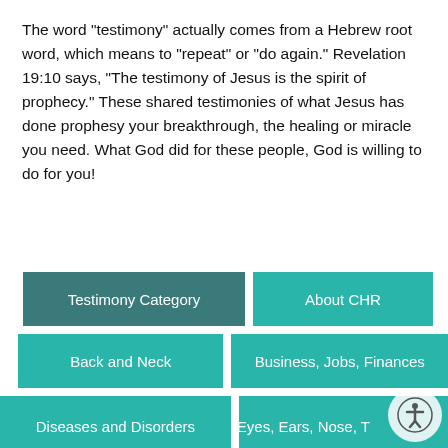The word "testimony" actually comes from a Hebrew root word, which means to "repeat" or "do again." Revelation 19:10 says, "The testimony of Jesus is the spirit of prophecy." These shared testimonies of what Jesus has done prophesy your breakthrough, the healing or miracle you need. What God did for these people, God is willing to do for you!
Testimony Category
About CHR
Back and Neck
Business, Jobs, Finances
Diseases and Disorders
Eyes, Ears, Nose, T…